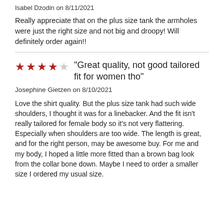Isabel Dzodin on 8/11/2021
Really appreciate that on the plus size tank the armholes were just the right size and not big and droopy! Will definitely order again!!
"Great quality, not good tailored fit for women tho"
Josephine Gietzen on 8/10/2021
Love the shirt quality. But the plus size tank had such wide shoulders, I thought it was for a linebacker. And the fit isn't really tailored for female body so it's not very flattering. Especially when shoulders are too wide. The length is great, and for the right person, may be awesome buy. For me and my body, I hoped a little more fitted than a brown bag look from the collar bone down. Maybe I need to order a smaller size I ordered my usual size.